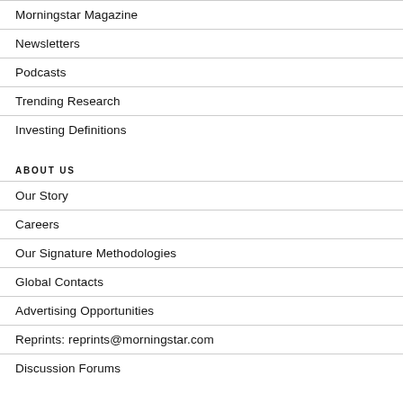Morningstar Magazine
Newsletters
Podcasts
Trending Research
Investing Definitions
ABOUT US
Our Story
Careers
Our Signature Methodologies
Global Contacts
Advertising Opportunities
Reprints: reprints@morningstar.com
Discussion Forums
GET HELP
Help Center